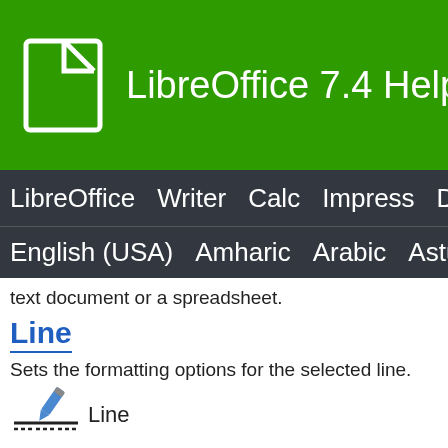LibreOffice 7.4 Help
LibreOffice Writer Calc Impress Draw
English (USA) Amharic Arabic Asturian
text document or a spreadsheet.
Line
Sets the formatting options for the selected line.
[Figure (illustration): Line toolbar icon with pencil and dashed lines]
Line
Arrow Style
Opens the Arrowheads toolbar. Use the toolbar buttons to define the style for the